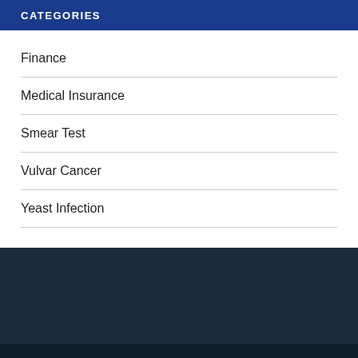CATEGORIES
Finance
Medical Insurance
Smear Test
Vulvar Cancer
Yeast Infection